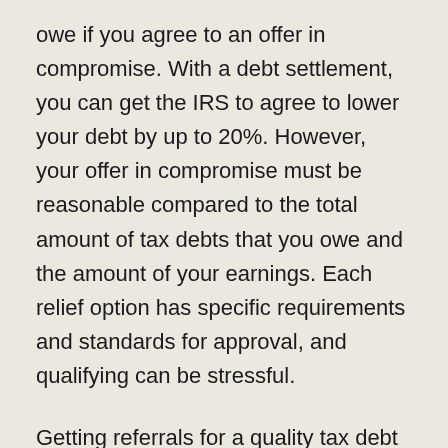owe if you agree to an offer in compromise. With a debt settlement, you can get the IRS to agree to lower your debt by up to 20%. However, your offer in compromise must be reasonable compared to the total amount of tax debts that you owe and the amount of your earnings. Each relief option has specific requirements and standards for approval, and qualifying can be stressful.
Getting referrals for a quality tax debt attorney is essential. Ask people you know who they have used in the past and ask for recommendations. Word-of-mouth is a great